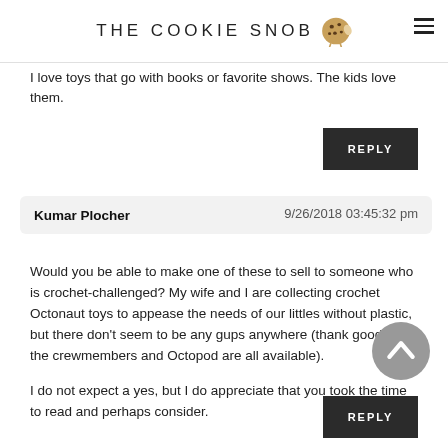THE COOKIE SNOB
I love toys that go with books or favorite shows. The kids love them.
REPLY
Kumar Plocher  9/26/2018 03:45:32 pm
Would you be able to make one of these to sell to someone who is crochet-challenged? My wife and I are collecting crochet Octonaut toys to appease the needs of our littles without plastic, but there don't seem to be any gups anywhere (thank goodness the crewmembers and Octopod are all available).

I do not expect a yes, but I do appreciate that you took the time to read and perhaps consider.
REPLY